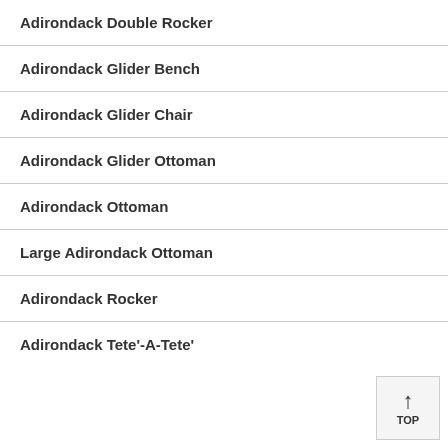Adirondack Double Rocker
Adirondack Glider Bench
Adirondack Glider Chair
Adirondack Glider Ottoman
Adirondack Ottoman
Large Adirondack Ottoman
Adirondack Rocker
Adirondack Tete'-A-Tete'